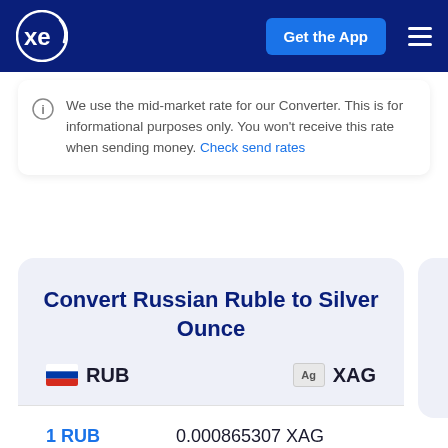xe — Get the App
We use the mid-market rate for our Converter. This is for informational purposes only. You won't receive this rate when sending money. Check send rates
Convert Russian Ruble to Silver Ounce
| Currency | Rate |
| --- | --- |
| 1 RUB | 0.000865307 XAG |
| 5 RUB | 0.00432653 XAG |